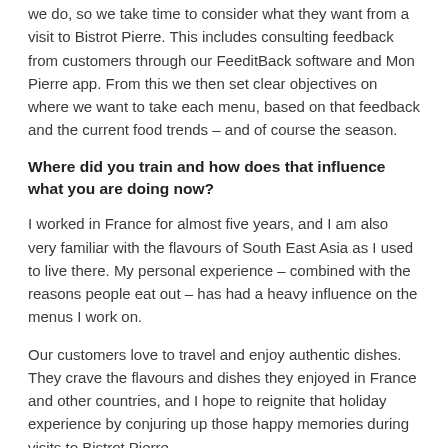we do, so we take time to consider what they want from a visit to Bistrot Pierre. This includes consulting feedback from customers through our FeeditBack software and Mon Pierre app. From this we then set clear objectives on where we want to take each menu, based on that feedback and the current food trends – and of course the season.
Where did you train and how does that influence what you are doing now?
I worked in France for almost five years, and I am also very familiar with the flavours of South East Asia as I used to live there. My personal experience – combined with the reasons people eat out – has had a heavy influence on the menus I work on.
Our customers love to travel and enjoy authentic dishes. They crave the flavours and dishes they enjoyed in France and other countries, and I hope to reignite that holiday experience by conjuring up those happy memories during visits to Bistrot Pierre.
What makes French cooking and French produce so special?
At Bistrot Pierre we are passionate about bringing our customers simple and delicious French cooking and our spring menu does that with a mix of modern techniques and some French colonial